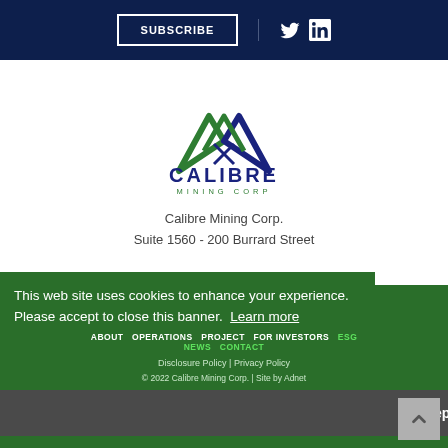SUBSCRIBE | Twitter | LinkedIn
[Figure (logo): Calibre Mining Corp logo — two mountain peaks in green and dark blue, with text CALIBRE in bold dark blue and MINING CORP in green below]
Calibre Mining Corp.
Suite 1560 - 200 Burrard Street
Vancouver, BC
Canada V6C 3L6
Vancouver, BC
Canada V6C 3L6
ABOUT  OPERATIONS  PROJECT  FOR INVESTORS  ESG
NEWS  CONTACT
Disclosure Policy | Privacy Policy
© 2022 Calibre Mining Corp. | Site by Adnet
This web site uses cookies to enhance your experience. Please accept to close this banner.  Learn more
I Accept